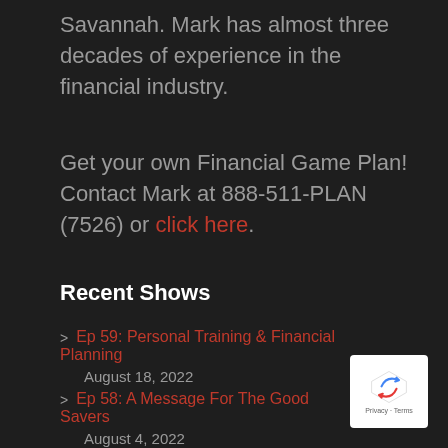Savannah. Mark has almost three decades of experience in the financial industry.
Get your own Financial Game Plan! Contact Mark at 888-511-PLAN (7526) or click here.
Recent Shows
Ep 59: Personal Training & Financial Planning
August 18, 2022
Ep 58: A Message For The Good Savers
August 4, 2022